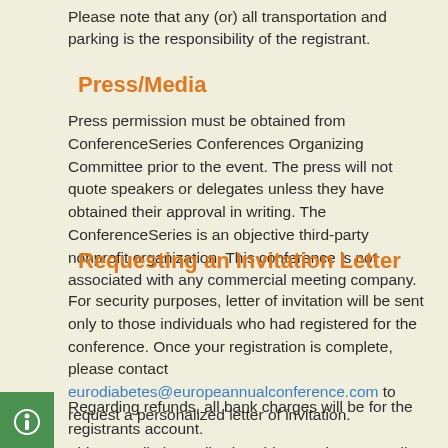Please note that any (or) all transportation and parking is the responsibility of the registrant.
Press/Media
Press permission must be obtained from ConferenceSeries Conferences Organizing Committee prior to the event. The press will not quote speakers or delegates unless they have obtained their approval in writing. The ConferenceSeries is an objective third-party nonprofit organization. This conference is not associated with any commercial meeting company.
Requesting an Invitation Letter
For security purposes, letter of invitation will be sent only to those individuals who had registered for the conference. Once your registration is complete, please contact eurodiabetes@europeannualconference.com to request a personalized letter of invitation.
Regarding refunds, all bank charges will be for the registrants account.
This cancellation policy is subject to change. April